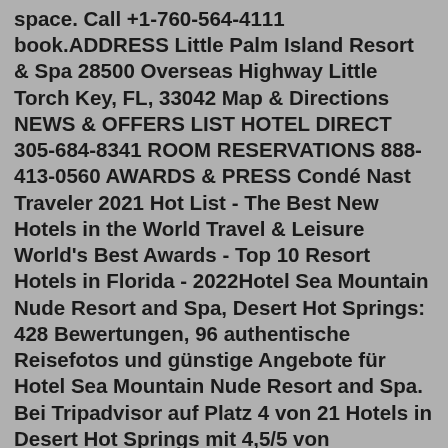space. Call +1-760-564-4111 book.ADDRESS Little Palm Island Resort & Spa 28500 Overseas Highway Little Torch Key, FL, 33042 Map & Directions NEWS & OFFERS LIST HOTEL DIRECT 305-684-8341 ROOM RESERVATIONS 888-413-0560 AWARDS & PRESS Condé Nast Traveler 2021 Hot List - The Best New Hotels in the World Travel & Leisure World's Best Awards - Top 10 Resort Hotels in Florida - 2022Hotel Sea Mountain Nude Resort and Spa, Desert Hot Springs: 428 Bewertungen, 96 authentische Reisefotos und günstige Angebote für Hotel Sea Mountain Nude Resort and Spa. Bei Tripadvisor auf Platz 4 von 21 Hotels in Desert Hot Springs mit 4,5/5 von Reisenden bewertet. Palm Mountain Resort & Spa: Hôtel bien situé - consultez 731 avis de voyageurs, 409 photos, les meilleures offres et comparez les prix pour Palm Mountain Resort & Spa sur Tripadvisor. Passer au contenu principal. Avis. Voyages Alertes Connectez-vous. Messages. Tout afficher.Book Palm Mountain Resort & Spa: